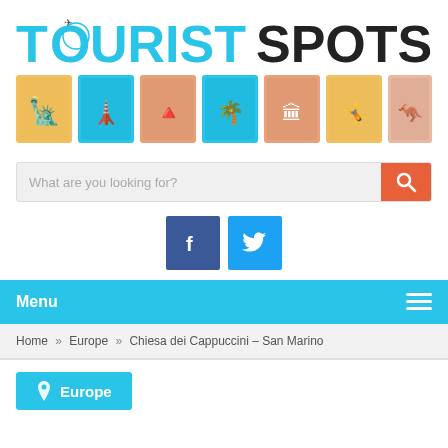[Figure (logo): Tourist Spots website logo with colorful stamp icons and text TOURIST SPOTS]
[Figure (screenshot): Search bar with placeholder 'What are you looking for?' and orange search button]
[Figure (screenshot): Facebook and Twitter social media icon buttons]
Menu
Home » Europe » Chiesa dei Cappuccini – San Marino
[Figure (screenshot): Europe category button in cyan/blue color with location pin icon]